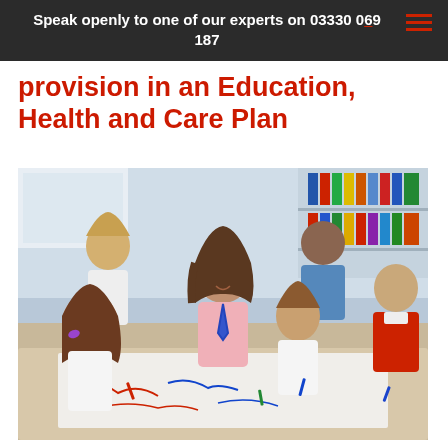Speak openly to one of our experts on 03330 089 187
provision in an Education, Health and Care Plan
[Figure (photo): A smiling female teacher with a blue lanyard leaning over a classroom table, working with a group of primary school children who are drawing or writing on a large sheet of paper. A second adult woman is visible in the background. Colorful folders and classroom materials are visible on shelving in the background.]